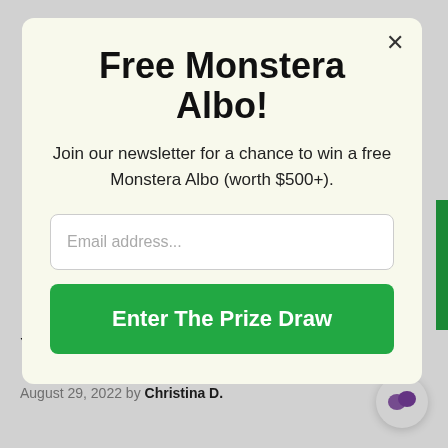Free Monstera Albo!
Join our newsletter for a chance to win a free Monstera Albo (worth $500+).
Email address...
Enter The Prize Draw
You Can Grow
August 29, 2022 by Christina D.